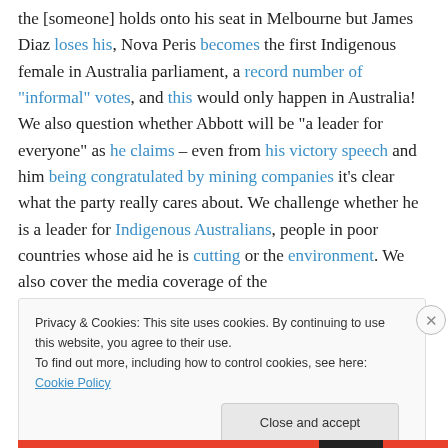the [someone] holds onto his seat in Melbourne but James Diaz loses his, Nova Peris becomes the first Indigenous female in Australia parliament, a record number of "informal" votes, and this would only happen in Australia! We also question whether Abbott will be "a leader for everyone" as he claims – even from his victory speech and him being congratulated by mining companies it's clear what the party really cares about. We challenge whether he is a leader for Indigenous Australians, people in poor countries whose aid he is cutting or the environment. We also cover the media coverage of the
Privacy & Cookies: This site uses cookies. By continuing to use this website, you agree to their use. To find out more, including how to control cookies, see here: Cookie Policy
Close and accept